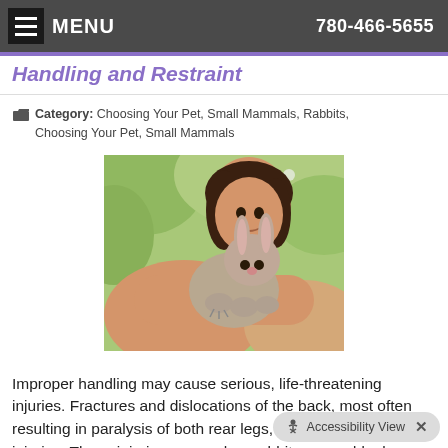MENU   780-466-5655
Handling and Restraint
Category: Choosing Your Pet, Small Mammals, Rabbits, Choosing Your Pet, Small Mammals
[Figure (photo): A smiling young woman holding a grey/brown rabbit outdoors with greenery in background]
Improper handling may cause serious, life-threatening injuries. Fractures and dislocations of the back, most often resulting in paralysis of both rear legs, are the most common injuries. These injuries occur when rabbits are suddenly frightened and attempt to escape from a small enclosure. A rabbit's
Read more